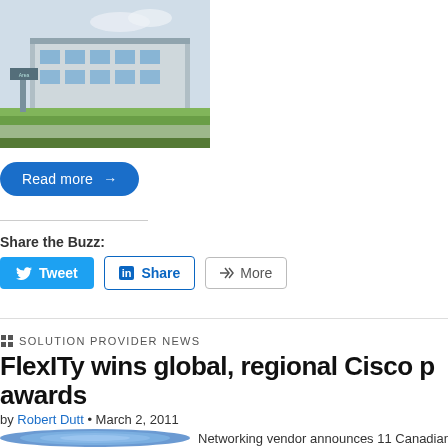[Figure (photo): Exterior photo of a building with green lawn and signage, partial view of a corporate campus]
Read more →
Share the Buzz:
Tweet  Share  More
SOLUTION PROVIDER NEWS
FlexITy wins global, regional Cisco p awards
by Robert Dutt • March 2, 2011
[Figure (photo): Blue ribbon/rosette award photo, partial view]
Networking vendor announces 11 Canadian p